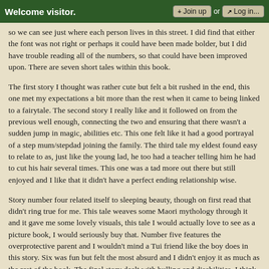Welcome visitor. | + Join up or Log in...
so we can see just where each person lives in this street. I did find that either the font was not right or perhaps it could have been made bolder, but I did have trouble reading all of the numbers, so that could have been improved upon. There are seven short tales within this book.
The first story I thought was rather cute but felt a bit rushed in the end, this one met my expectations a bit more than the rest when it came to being linked to a fairytale. The second story I really like and it followed on from the previous well enough, connecting the two and ensuring that there wasn't a sudden jump in magic, abilities etc. This one felt like it had a good portrayal of a step mum/stepdad joining the family. The third tale my eldest found easy to relate to as, just like the young lad, he too had a teacher telling him he had to cut his hair several times. This one was a tad more out there but still enjoyed and I like that it didn't have a perfect ending relationship wise.
Story number four related itself to sleeping beauty, though on first read that didn't ring true for me. This tale weaves some Maori mythology through it and it gave me some lovely visuals, this tale I would actually love to see as a picture book, I would seriously buy that. Number five features the overprotective parent and I wouldn't mind a Tui friend like the boy does in this story. Six was fun but felt the most absurd and I didn't enjoy it as much as the rest of the book. The final story dealt with bulling and disabilities, I think it was the most realistic of the seven tales and I liked how it dealt with the topics, especially as one disability was the cause of poor choices and not birth.